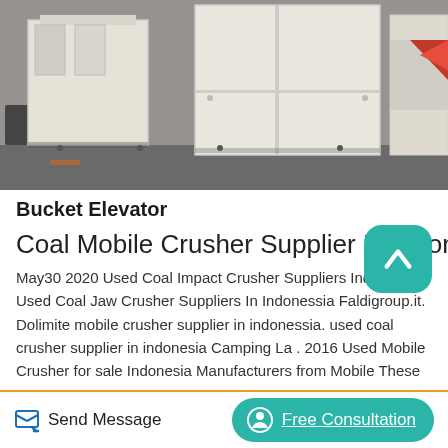[Figure (photo): Industrial bucket elevator equipment - large white/cream colored metal boxes/enclosures sitting on a concrete floor in a warehouse or factory setting. Multiple units visible.]
Bucket Elevator
Coal Mobile Crusher Supplier In Indonesia
May30 2020 Used Coal Impact Crusher Suppliers Indonessia. Used Coal Jaw Crusher Suppliers In Indonessia Faldigroup.it. Dolimite mobile crusher supplier in indonessia. used coal crusher supplier in indonesia Camping La . 2016 Used Mobile Crusher for sale Indonesia Manufacturers from Mobile These cone crushers are mainly used. Mobile coal